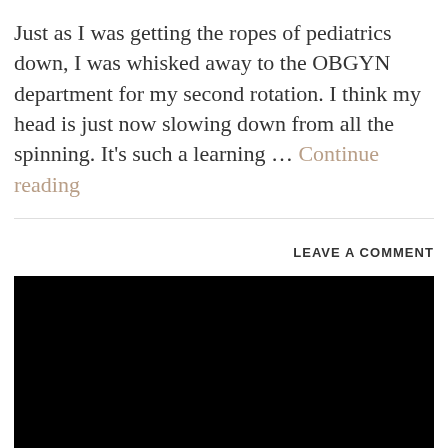Just as I was getting the ropes of pediatrics down, I was whisked away to the OBGYN department for my second rotation. I think my head is just now slowing down from all the spinning. It's such a learning … Continue reading
LEAVE A COMMENT
[Figure (photo): Black rectangular image area occupying the lower portion of the page]